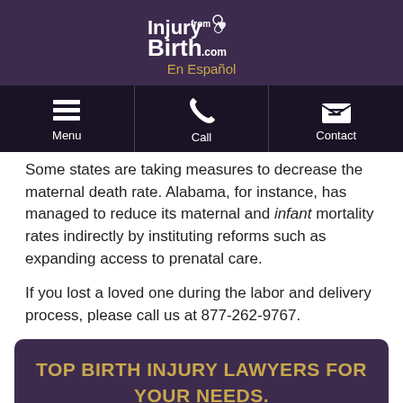InjuryFromBirth.com | En Español
[Figure (screenshot): Navigation bar with Menu, Call, and Contact icons on dark background]
Some states are taking measures to decrease the maternal death rate. Alabama, for instance, has managed to reduce its maternal and infant mortality rates indirectly by instituting reforms such as expanding access to prenatal care.
If you lost a loved one during the labor and delivery process, please call us at 877-262-9767.
TOP BIRTH INJURY LAWYERS FOR YOUR NEEDS.